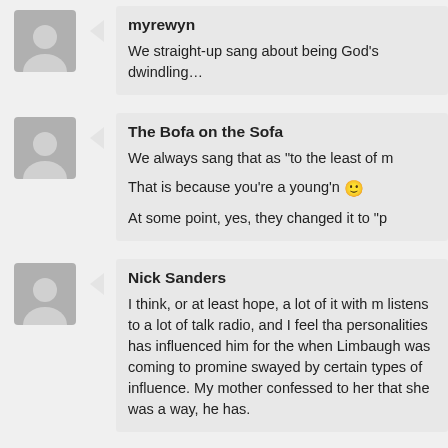myrewyn
We straight-up sang about being God's dwindling…
The Bofa on the Sofa
We always sang that as "to the least of
That is because you're a young'n 🙂
At some point, yes, they changed it to "p
Nick Sanders
I think, or at least hope, a lot of it with m listens to a lot of talk radio, and I feel tha personalities has influenced him for the when Limbaugh was coming to promine swayed by certain types of influence. My mother confessed to her that she was a way, he has.